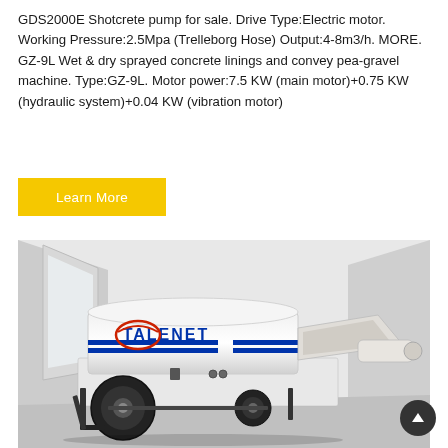GDS2000E Shotcrete pump for sale. Drive Type:Electric motor. Working Pressure:2.5Mpa (Trelleborg Hose) Output:4-8m3/h. MORE. GZ-9L Wet & dry sprayed concrete linings and convey pea-gravel machine. Type:GZ-9L. Motor power:7.5 KW (main motor)+0.75 KW (hydraulic system)+0.04 KW (vibration motor)
Learn More
[Figure (photo): Talenet branded shotcrete pump / concrete pump on a wheeled trailer with a hopper attachment, white body with blue TALENET logo and red swoosh graphic, photographed against a light grey background.]